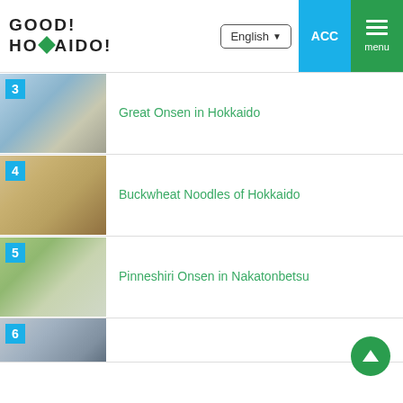[Figure (screenshot): GOOD! HOKKAIDO! website logo with green diamond shape]
English
ACC
menu
3 Great Onsen in Hokkaido
4 Buckwheat Noodles of Hokkaido
5 Pinneshiri Onsen in Nakatonbetsu
6 (partially visible)